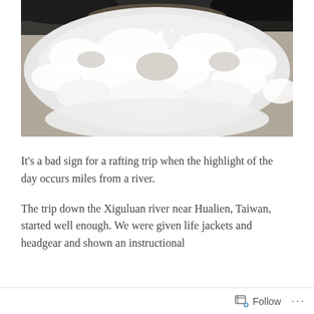[Figure (photo): Close-up photograph of churning white water rapids with foam and spray against dark rocks, taken from above.]
It's a bad sign for a rafting trip when the highlight of the day occurs miles from a river.
The trip down the Xiguluan river near Hualien, Taiwan, started well enough. We were given life jackets and headgear and shown an instructional
Follow ···